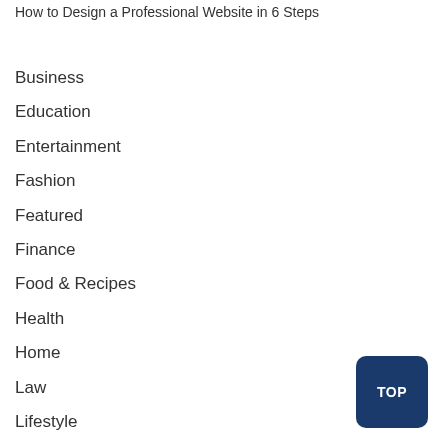How to Design a Professional Website in 6 Steps
Business
Education
Entertainment
Fashion
Featured
Finance
Food & Recipes
Health
Home
Law
Lifestyle